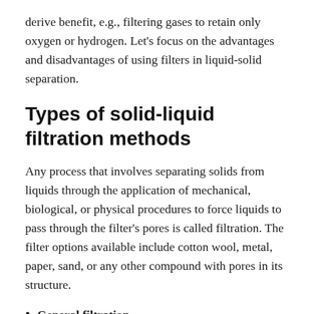derive benefit, e.g., filtering gases to retain only oxygen or hydrogen. Let's focus on the advantages and disadvantages of using filters in liquid-solid separation.
Types of solid-liquid filtration methods
Any process that involves separating solids from liquids through the application of mechanical, biological, or physical procedures to force liquids to pass through the filter's pores is called filtration. The filter options available include cotton wool, metal, paper, sand, or any other compound with pores in its structure.
General filtration
If you are in the industrial and chemical world, here is a...